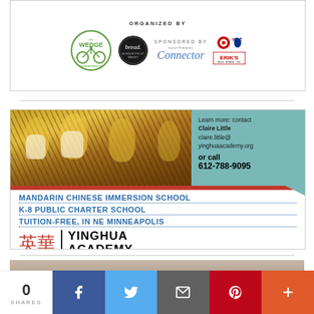[Figure (illustration): Top advertisement banner for a community event organized by The Wedge Neighborhood and Bread (a unique pop-up market), sponsored by Southwest Connector, Target, and Erik's Bike Board Ski.]
[Figure (illustration): Yinghua Academy advertisement showing children in tiger costumes, contact info (Claire Little, claire.little@yinghuaacademy.org, 612-788-9095), with text: MANDARIN CHINESE IMMERSION SCHOOL, K-8 PUBLIC CHARTER SCHOOL, TUITION-FREE, IN NE MINNEAPOLIS, and the Yinghua Academy logo with Chinese characters.]
[Figure (photo): Partial photo visible at bottom of page, appears to show a person's head/hair from behind.]
0
SHARES